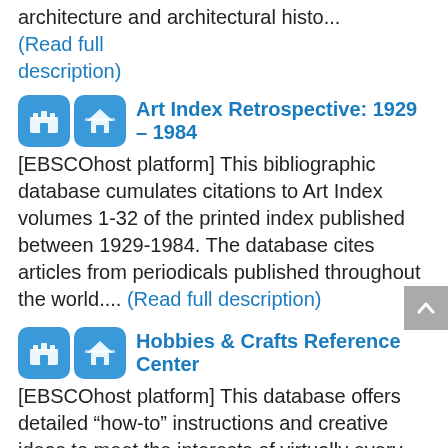architecture and architectural histo… (Read full description)
Art Index Retrospective: 1929 – 1984
[EBSCOhost platform] This bibliographic database cumulates citations to Art Index volumes 1-32 of the printed index published between 1929-1984. The database cites articles from periodicals published throughout the world.... (Read full description)
Hobbies & Crafts Reference Center
[EBSCOhost platform] This database offers detailed “how-to” instructions and creative ideas to meet the interests of virtually every hobby enthusiast. Full text is provided from leading hobby and craft magazines, includin… (Read full description)